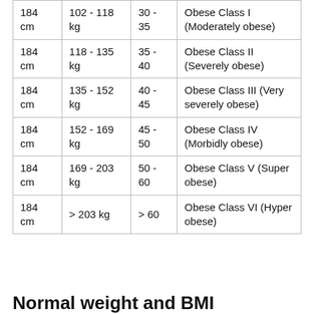| Height | Weight | BMI | Classification |
| --- | --- | --- | --- |
| 184 cm | 102 - 118 kg | 30 - 35 | Obese Class I (Moderately obese) |
| 184 cm | 118 - 135 kg | 35 - 40 | Obese Class II (Severely obese) |
| 184 cm | 135 - 152 kg | 40 - 45 | Obese Class III (Very severely obese) |
| 184 cm | 152 - 169 kg | 45 - 50 | Obese Class IV (Morbidly obese) |
| 184 cm | 169 - 203 kg | 50 - 60 | Obese Class V (Super obese) |
| 184 cm | > 203 kg | > 60 | Obese Class VI (Hyper obese) |
Normal weight and BMI